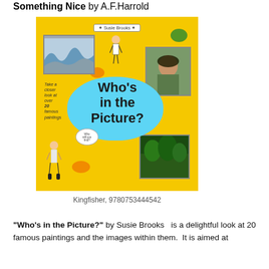Something Nice by A.F.Harrold
[Figure (photo): Book cover of 'Who's in the Picture?' by Susie Brooks, published by Kingfisher. Yellow background with 'Who's in the Picture?' title in a blue splat shape. Features images of famous paintings including The Great Wave, a Frida Kahlo portrait, and a forest scene. Illustrated figures of children on the cover.]
Kingfisher, 9780753444542
"Who's in the Picture?" by Susie Brooks  is a delightful look at 20 famous paintings and the images within them.  It is aimed at